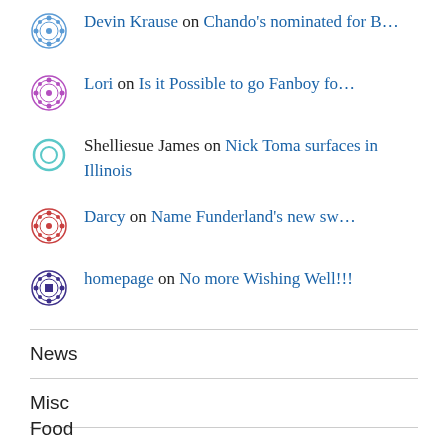Devin Krause on Chando's nominated for B...
Lori on Is it Possible to go Fanboy fo...
Shelliesue James on Nick Toma surfaces in Illinois
Darcy on Name Funderland's new sw...
homepage on No more Wishing Well!!!
News
Misc
Food